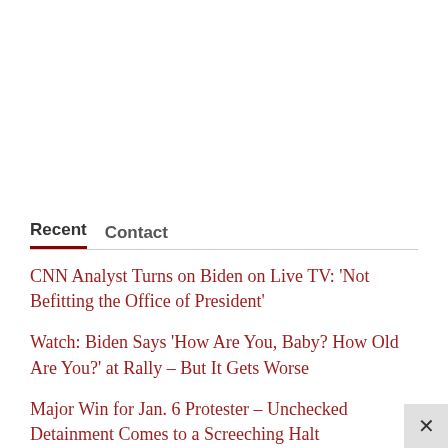Recent  Contact
CNN Analyst Turns on Biden on Live TV: 'Not Befitting the Office of President'
Watch: Biden Says 'How Are You, Baby? How Old Are You?' at Rally – But It Gets Worse
Major Win for Jan. 6 Protester – Unchecked Detainment Comes to a Screeching Halt